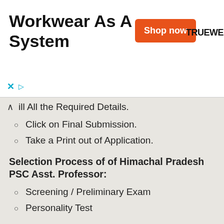[Figure (other): Advertisement banner for Truewerk workwear with Shop now button]
ill All the Required Details.
Click on Final Submission.
Take a Print out of Application.
Selection Process of of Himachal Pradesh PSC Asst. Professor:
Screening / Preliminary Exam
Personality Test
Important Dates for HPPSC Assistant Professor Recruitment:
| Particulars | Date |
| --- | --- |